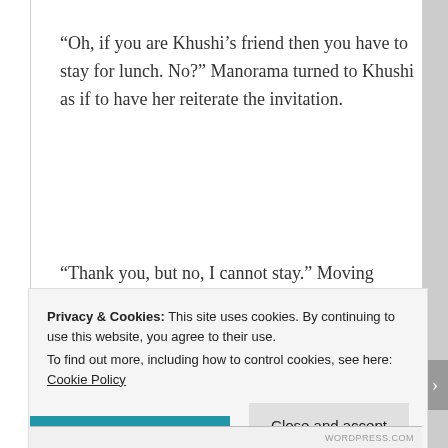“Oh, if you are Khushi’s friend then you have to stay for lunch. No?” Manorama turned to Khushi as if to have her reiterate the invitation.
“Thank you, but no, I cannot stay.” Moving towards the foyer Arnav bent to put his shoes on. “I just wanted to…”
Privacy & Cookies: This site uses cookies. By continuing to use this website, you agree to their use.
To find out more, including how to control cookies, see here: Cookie Policy
Close and accept